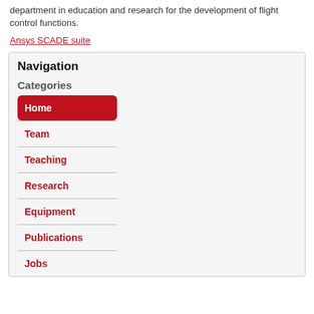department in education and research for the development of flight control functions.
Ansys SCADE suite
Navigation
Categories
Home
Team
Teaching
Research
Equipment
Publications
Jobs